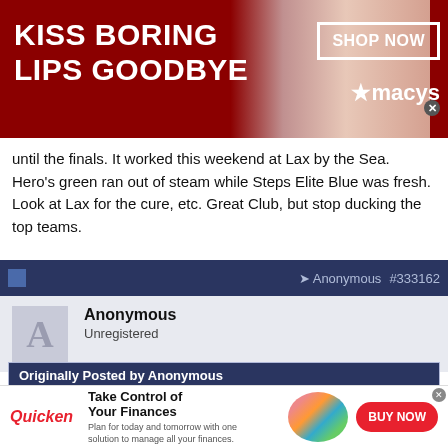[Figure (other): Macy's advertisement banner: 'KISS BORING LIPS GOODBYE' with SHOP NOW button and Macy's logo on dark red background with woman's face]
until the finals. It worked this weekend at Lax by the Sea. Hero's green ran out of steam while Steps Elite Blue was fresh. Look at Lax for the cure, etc. Great Club, but stop ducking the top teams.
Anonymous #333162
Anonymous
Unregistered
Originally Posted by Anonymous
Steps Elite Blue needs to step up an play in the A pool. I've noticed that in all of their tourneys they place themselves in a very weak pool, and then setup the playoffs so they won't have to
[Figure (other): Quicken advertisement: 'Take Control of Your Finances' with BUY NOW button]